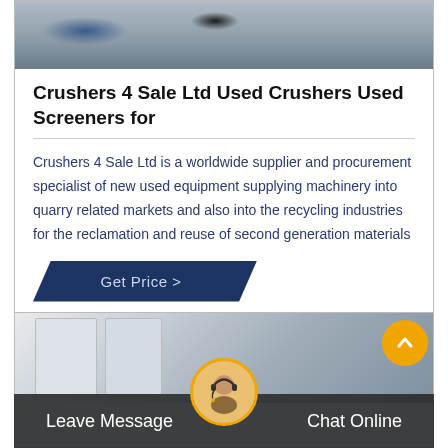[Figure (photo): Top portion of a machinery/equipment photo showing what appears to be industrial crushers or screeners, with a blue element and mechanical parts visible on a grey surface]
Crushers 4 Sale Ltd Used Crushers Used Screeners for
Crushers 4 Sale Ltd is a worldwide supplier and procurement specialist of new used equipment supplying machinery into quarry related markets and also into the recycling industries for the reclamation and reuse of second generation materials
[Figure (infographic): Get Price > button rendered as a dark navy blue parallelogram/ribbon shape]
[Figure (photo): Bottom section showing a warehouse or industrial facility interior with cylindrical tanks/silos visible, partial view of a person with a headset and what appears to be a credit card]
Leave Message
Chat Online